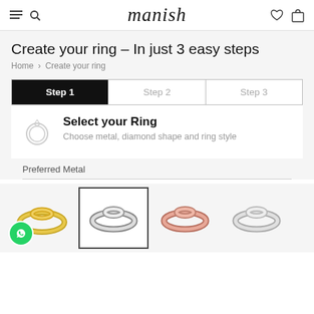manish
Create your ring – In just 3 easy steps
Home > Create your ring
Step 1
Step 2
Step 3
Select your Ring
Choose metal, diamond shape and ring style
Preferred Metal
[Figure (photo): Four metal ring options: yellow gold ring, white gold ring (selected), rose gold ring, silver/platinum ring. WhatsApp chat icon overlaid on first ring.]